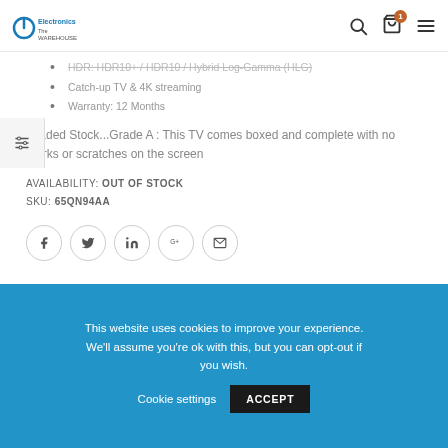The Electronics Warehouse
HDR: HDR10+ / HDR10 / Hybrid Log-Gamma (HLG)
Catch-up TV & 4K streaming
Warranty: 12 Months
Graded Stock...Grade A : This TV comes boxed and complete with no marks or scratches on the screen
AVAILABILITY: OUT OF STOCK
SKU: 65QN94AA
[Figure (infographic): Social sharing icons: Facebook, Twitter, LinkedIn, Google+, Email — each in a light circular border]
This website uses cookies to improve your experience. We'll assume you're ok with this, but you can opt-out if you wish. Cookie settings ACCEPT